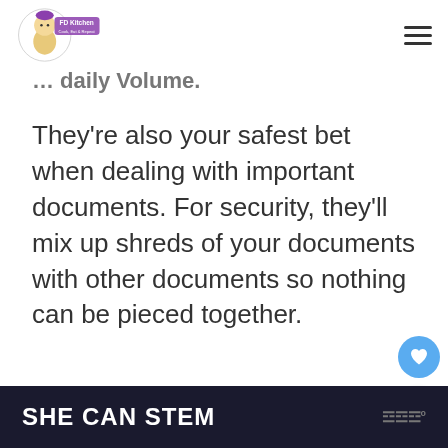[Figure (logo): FD Kitchen logo with cartoon character, text 'FD Kitchen Cook, Eat & Repeat']
... daily Volume.
They're also your safest bet when dealing with important documents. For security, they'll mix up shreds of your documents with other documents so nothing can be pieced together.
ADVERTISEMENT
SHE CAN STEM